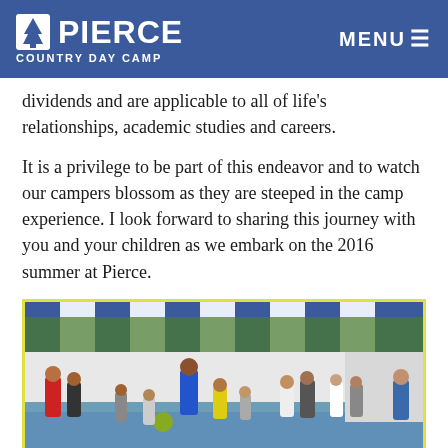PIERCE COUNTRY DAY CAMP | MENU
dividends and are applicable to all of life's relationships, academic studies and careers.
It is a privilege to be part of this endeavor and to watch our campers blossom as they are steeped in the camp experience. I look forward to sharing this journey with you and your children as we embark on the 2016 summer at Pierce.
[Figure (photo): Children playing dodgeball or a ball game in a covered outdoor court with blue and white striped canopy. A counselor in blue leads the activity. Trees visible in background.]